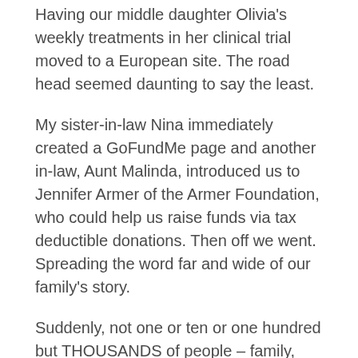Having our middle daughter Olivia's weekly treatments in her clinical trial moved to a European site. The road head seemed daunting to say the least.
My sister-in-law Nina immediately created a GoFundMe page and another in-law, Aunt Malinda, introduced us to Jennifer Armer of the Armer Foundation, who could help us raise funds via tax deductible donations. Then off we went. Spreading the word far and wide of our family's story.
Suddenly, not one or ten or one hundred but THOUSANDS of people – family, friends and strangers alike – came together amidst one of the hardest times in today's world, to support our family. My colleagues also reached out to their networks, having media outlets from the Independent Newspapers,